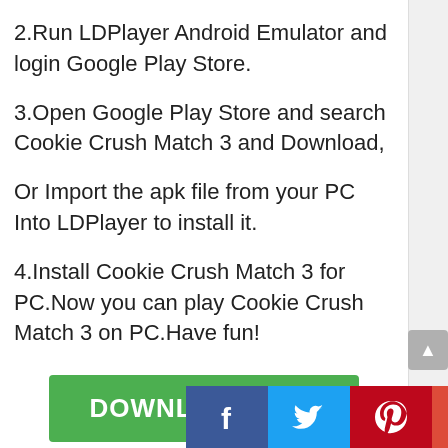2.Run LDPlayer Android Emulator and login Google Play Store.
3.Open Google Play Store and search Cookie Crush Match 3 and Download,
Or Import the apk file from your PC Into LDPlayer to install it.
4.Install Cookie Crush Match 3 for PC.Now you can play Cookie Crush Match 3 on PC.Have fun!
[Figure (other): Green DOWNLOAD APK button]
[Figure (other): Green DOWNLOAD LDPLAYER button (partially visible)]
[Figure (other): Social share icons: Facebook, Twitter, Pinterest, Google+]